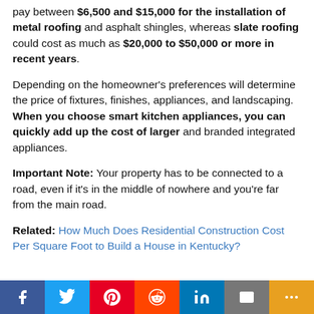pay between $6,500 and $15,000 for the installation of metal roofing and asphalt shingles, whereas slate roofing could cost as much as $20,000 to $50,000 or more in recent years.
Depending on the homeowner's preferences will determine the price of fixtures, finishes, appliances, and landscaping. When you choose smart kitchen appliances, you can quickly add up the cost of larger and branded integrated appliances.
Important Note: Your property has to be connected to a road, even if it's in the middle of nowhere and you're far from the main road.
Related: How Much Does Residential Construction Cost Per Square Foot to Build a House in Kentucky?
[Figure (other): Social sharing bar with icons for Facebook, Twitter, Pinterest, Reddit, LinkedIn, Email/Mail, and More]